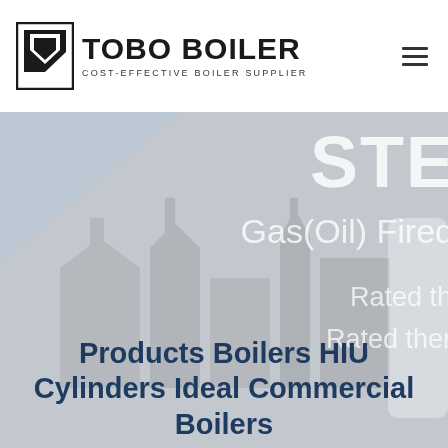[Figure (logo): TOBO BOILER logo with angular black trapezoid/chevron icon on left and bold uppercase text 'TOBO BOILER' with tagline 'COST-EFFECTIVE BOILER SUPPLIER' below]
[Figure (photo): Hero background image showing a boiler facility with grey/light-blue background, partially cropped white text overlaid reading 'STE...' (STEAM), 'Gas(Oil) Fired...', 'Rated th...', 'Rated ther...' on the right side]
Products Boilers HIU Cylinders Ideal Commercial Boilers